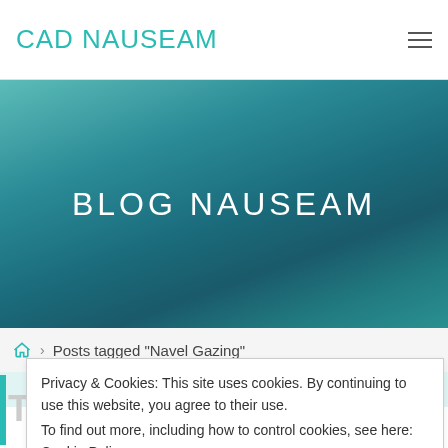CAD NAUSEAM
BLOG NAUSEAM
Posts tagged "Navel Gazing"
Ta
Privacy & Cookies: This site uses cookies. By continuing to use this website, you agree to their use.
To find out more, including how to control cookies, see here: Cookie Policy
Close and accept